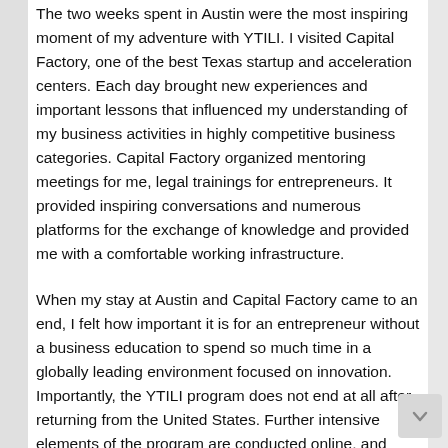The two weeks spent in Austin were the most inspiring moment of my adventure with YTILI. I visited Capital Factory, one of the best Texas startup and acceleration centers. Each day brought new experiences and important lessons that influenced my understanding of my business activities in highly competitive business categories. Capital Factory organized mentoring meetings for me, legal trainings for entrepreneurs. It provided inspiring conversations and numerous platforms for the exchange of knowledge and provided me with a comfortable working infrastructure.
When my stay at Austin and Capital Factory came to an end, I felt how important it is for an entrepreneur without a business education to spend so much time in a globally leading environment focused on innovation. Importantly, the YTILI program does not end at all after returning from the United States. Further intensive elements of the program are conducted online, and contacts made with investors and mentors during their stay in the US are very